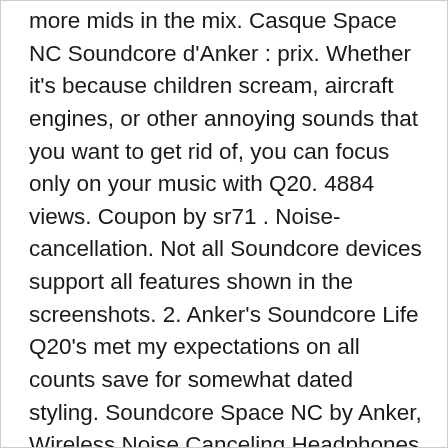more mids in the mix. Casque Space NC Soundcore d'Anker : prix. Whether it's because children scream, aircraft engines, or other annoying sounds that you want to get rid of, you can focus only on your music with Q20. 4884 views. Coupon by sr71 . Noise-cancellation. Not all Soundcore devices support all features shown in the screenshots. 2. Anker's Soundcore Life Q20's met my expectations on all counts save for somewhat dated styling. Soundcore Space NC by Anker, Wireless Noise Canceling Headphones with Touch Control, Hybrid-Active Noise Cancellation $40 | More Deals Like This; 7 days old. It should come as no surprise that the battery life of the Anker Soundcore Vortex exceeds expectations. 13h longer battery life? Scroll down for more details. Anker SoundCore Space NC vs Bose QuietComfort 35 II. Has voice commands? vs. Anker SoundCore Space NC. This technology cancels out up to 93% of